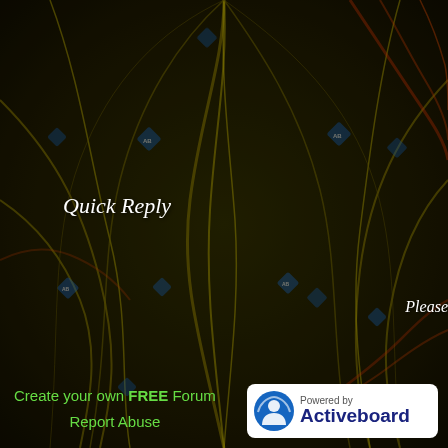[Figure (illustration): Dark abstract background with flowing yellow, red, and orange streaks on a dark olive/black background, with repeating blue diamond watermark patterns scattered throughout]
Quick Reply
Please
Create your own FREE Forum
Report Abuse
[Figure (logo): Powered by Activeboard logo — white rounded rectangle badge with blue globe/person icon and text 'Powered by Activeboard' in blue]